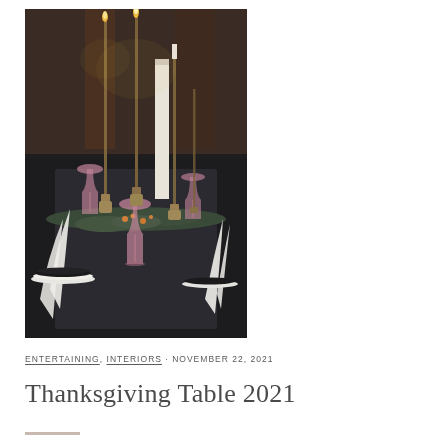[Figure (photo): A styled Thanksgiving dinner table with dark plates, pink/mauve wine glasses, tall brass candlesticks with lit candles, white feathers, greenery, and small orange berries as table decorations.]
ENTERTAINING, INTERIORS · NOVEMBER 22, 2021
Thanksgiving Table 2021